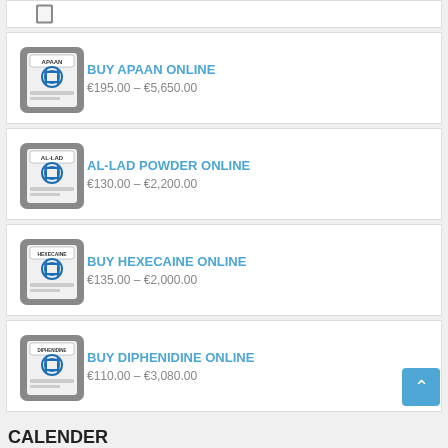BUY APAAN ONLINE
€195.00 – €5,650.00
AL-LAD POWDER ONLINE
€130.00 – €2,200.00
BUY HEXECAINE ONLINE
€135.00 – €2,000.00
BUY DIPHENIDINE ONLINE
€110.00 – €3,080.00
CALENDER